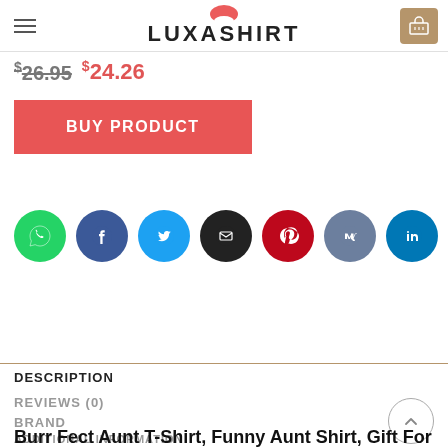LUXASHIRT
$26.95  $24.26
BUY PRODUCT
[Figure (other): Row of 8 social media share icons: WhatsApp (green), Facebook (dark blue), Twitter (light blue), Email (black), Pinterest (red), VK (gray-blue), LinkedIn (blue), Tumblr (dark gray)]
DESCRIPTION
REVIEWS (0)
BRAND
ADDITIONAL INFORMATION
Burr Fect Aunt T-Shirt, Funny Aunt Shirt, Gift For